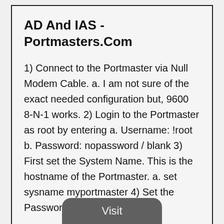AD And IAS - Portmasters.Com
1) Connect to the Portmaster via Null Modem Cable. a. I am not sure of the exact needed configuration but, 9600 8-N-1 works. 2) Login to the Portmaster as root by entering a. Username: !root b. Password: nopassword / blank 3) First set the System Name. This is the hostname of the Portmaster. a. set sysname myportmaster 4) Set the Password.